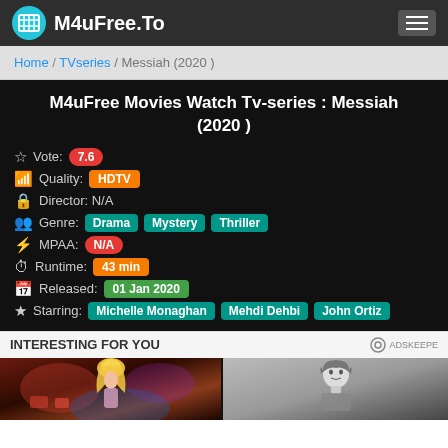M4uFree.To
Home / TVseries / Messiah (2020 )
M4uFree Movies Watch Tv-series : Messiah (2020 )
Vote: 7.6
Quality: HDTV
Director: N/A
Genre: Drama  Mystery  Thriller
MPAA: N/A
Runtime: 43 min
Released: 01 Jan 2020
Starring: Michelle Monaghan  Mehdi Dehbi  John Ortiz
INTERESTING FOR YOU
[Figure (photo): Two promotional images at the bottom of the page]
ADSKEEPE